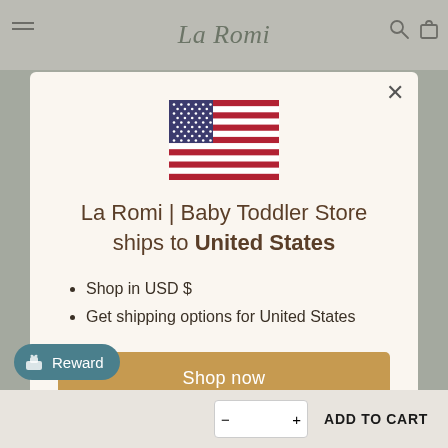La Romi
[Figure (illustration): United States flag emoji / icon]
La Romi | Baby Toddler Store ships to United States
Shop in USD $
Get shipping options for United States
Shop now
Change shipping country
Reward
ADD TO CART